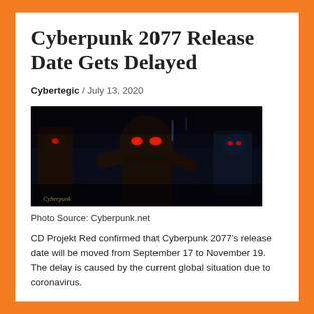Cyberpunk 2077 Release Date Gets Delayed
Cybertegic / July 13, 2020
[Figure (photo): Cyberpunk 2077 game screenshot showing armored characters with glowing red eyes in a dark cyberpunk environment with a watermark reading 'Cyberpunk' in the lower left corner.]
Photo Source: Cyberpunk.net
CD Projekt Red confirmed that Cyberpunk 2077’s release date will be moved from September 17 to November 19. The delay is caused by the current global situation due to coronavirus.